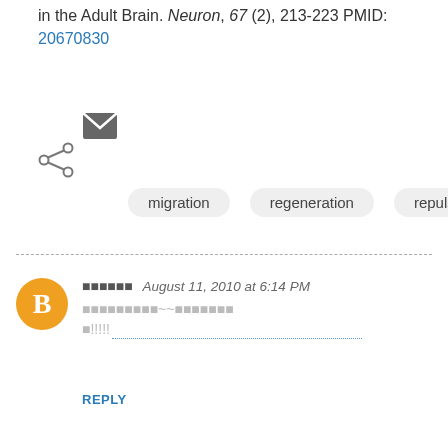in the Adult Brain. Neuron, 67 (2), 213-223 PMID: 20670830
[Figure (other): Email icon (envelope) and share icon (connected dots) for social sharing actions]
migration   regeneration   repulsion
Comment by user, August 11, 2010 at 6:14 PM
Comment text in non-Latin script with !! and dotted underline
REPLY